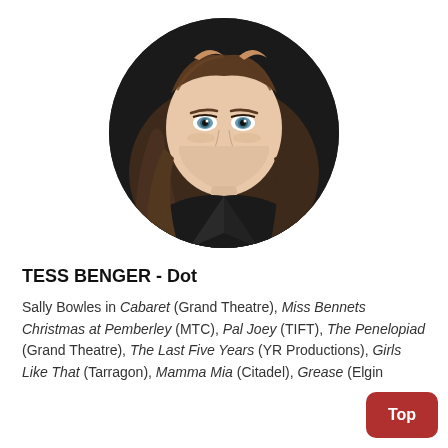[Figure (photo): Circular headshot of actress Tess Benger, a young woman with long wavy brown hair and blue eyes, wearing a black jacket, against a dark background.]
TESS BENGER - Dot
Sally Bowles in Cabaret (Grand Theatre), Miss Bennets Christmas at Pemberley (MTC), Pal Joey (TIFT), The Penelopiad (Grand Theatre), The Last Five Years (YR Productions), Girls Like That (Tarragon), Mamma Mia (Citadel), Grease (Elgin